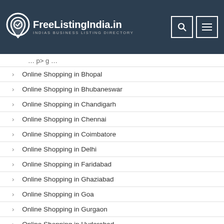FreeListingIndia.in — INDIAS BUSINESS LISTING DIRECTORY
Online Shopping in Bhopal
Online Shopping in Bhubaneswar
Online Shopping in Chandigarh
Online Shopping in Chennai
Online Shopping in Coimbatore
Online Shopping in Delhi
Online Shopping in Faridabad
Online Shopping in Ghaziabad
Online Shopping in Goa
Online Shopping in Gurgaon
Online Shopping in Hyderabad